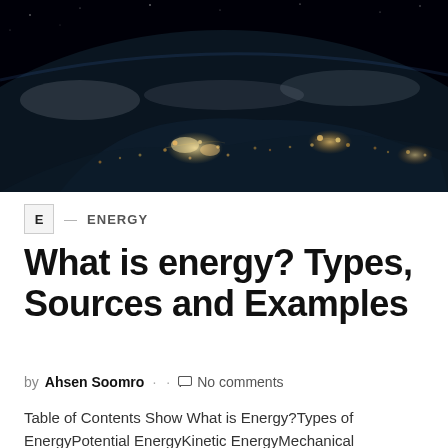[Figure (photo): Aerial/satellite night photo of Earth showing city lights and landmasses from space, with dark sky and curvature of the Earth visible]
E — ENERGY
What is energy? Types, Sources and Examples
by Ahsen Soomro · · No comments
Table of Contents Show What is Energy?Types of EnergyPotential EnergyKinetic EnergyMechanical EnergyElectrical EnergySources of Electrical EnergyNon-